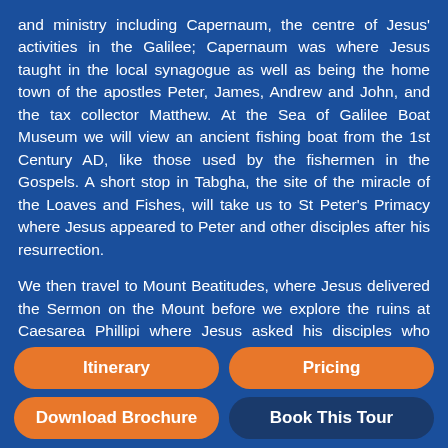and ministry including Capernaum, the centre of Jesus' activities in the Galilee; Capernaum was where Jesus taught in the local synagogue as well as being the home town of the apostles Peter, James, Andrew and John, and the tax collector Matthew. At the Sea of Galilee Boat Museum we will view an ancient fishing boat from the 1st Century AD, like those used by the fishermen in the Gospels. A short stop in Tabgha, the site of the miracle of the Loaves and Fishes, will take us to St Peter's Primacy where Jesus appeared to Peter and other disciples after his resurrection.
We then travel to Mount Beatitudes, where Jesus delivered the Sermon on the Mount before we explore the ruins at Caesarea Phillipi where Jesus asked his disciples who people were saying he was.
Itinerary
Pricing
Download Brochure
Book This Tour